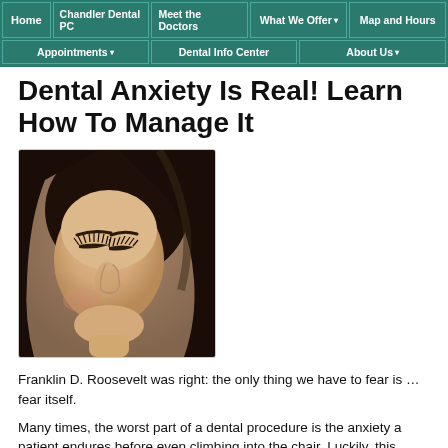Home | Chandler Dental PC | Meet the Doctors | What We Offer | Map and Hours | Appointments | Dental Info Center | About Us
Dental Anxiety Is Real! Learn How To Manage It
[Figure (photo): Young woman with dark hair and closed eyes, looking downward, calm expression]
Franklin D. Roosevelt was right: the only thing we have to fear is … fear itself.
Many times, the worst part of a dental procedure is the anxiety a patient endures before even climbing into the chair. Luckily, this anxiety is manageable, and we want our patients to feel at home with…